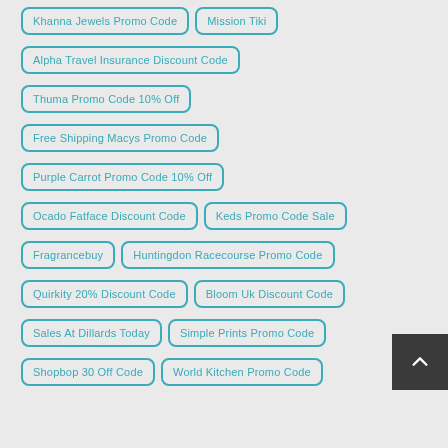Khanna Jewels Promo Code
Mission Tiki
Alpha Travel Insurance Discount Code
Thuma Promo Code 10% Off
Free Shipping Macys Promo Code
Purple Carrot Promo Code 10% Off
Ocado Fatface Discount Code
Keds Promo Code Sale
Fragrancebuy
Huntingdon Racecourse Promo Code
Quirkity 20% Discount Code
Bloom Uk Discount Code
Sales At Dillards Today
Simple Prints Promo Code
Shopbop 30 Off Code
World Kitchen Promo Code